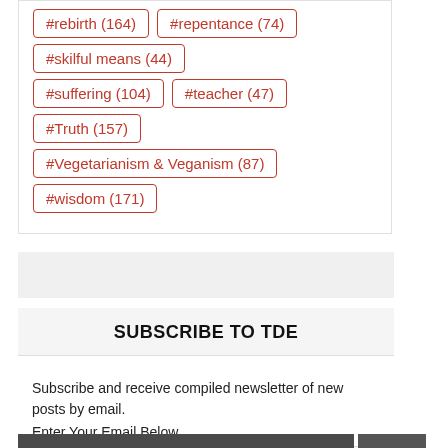#rebirth (164)
#repentance (74)
#skilful means (44)
#suffering (104)
#teacher (47)
#Truth (157)
#Vegetarianism & Veganism (87)
#wisdom (171)
SUBSCRIBE TO TDE
Subscribe and receive compiled newsletter of new posts by email.
Enter Your Email Below